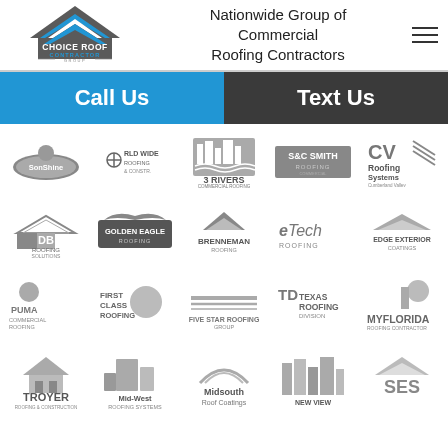[Figure (logo): Choice Roof Contractor Group logo with house/roof icon]
Nationwide Group of Commercial Roofing Contractors
Call Us
Text Us
[Figure (logo): Grid of roofing contractor company logos: SonShine, World Wide, 3 Rivers, S&C Smith Roofing, CV Roofing Systems, DB Roofing Solutions, Golden Eagle Roofing, Brenneman Roofing, eTech Roofing, Edge Exterior Coatings, Puma Commercial Roofing, First Class Roofing, Five Star Roofing Group, Texas Roofing Division, MyFlorida Roofing Contractor, Troyer Roofing & Construction, Mid-West Roofing Systems, Midsouth Roof Coatings, New View, SES]